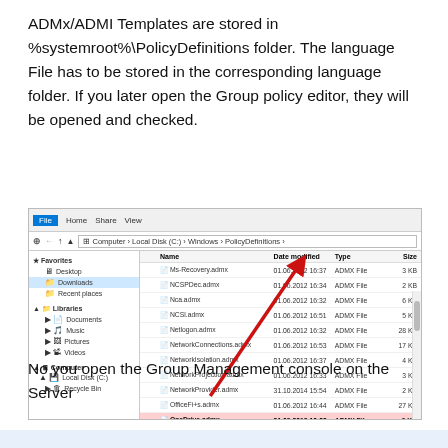ADMx/ADMI Templates are stored in %systemroot%\PolicyDefinitions folder. The language File has to be stored in the corresponding language folder. If you later open the Group policy editor, they will be opened and checked.
[Figure (screenshot): Windows Explorer screenshot showing the PolicyDefinitions folder contents with files like Ms-Recovery.admx, NCSPDec.admx, Nca.admx, NCSl.admx, Netlogon.admx, NetworkConnections.admx, NetworkIsolation.admx, NetworkProjection.admx, NetworkProvider.admx, OfficeFi+s.admx, OneDrive.admx (highlighted in red/pink), PdP-pnp.admx, ParentalControls.admx. A red arrow points to the PolicyDefinitions folder in the address bar. Left panel shows Favorites (Desktop, Downloads, Recent places), Libraries (Documents, Music, Pictures, Videos), and Computer (Local Disk C:, Recycle Bin).]
No you open the Group Management console on the Server